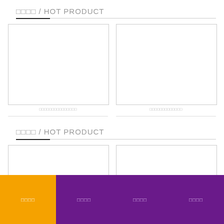□□□□ / HOT PRODUCT
[Figure (photo): Empty white product image placeholder, left]
[Figure (photo): Empty white product image placeholder, right]
□□□□□□□□□□□□□□□
□□□□□□□□□□□□□
□□□□ / HOT PRODUCT
[Figure (photo): Partial empty white product image placeholder, left, bottom section]
[Figure (photo): Partial empty white product image placeholder, right, bottom section]
□□□□  □□□□  □□□□  □□□□